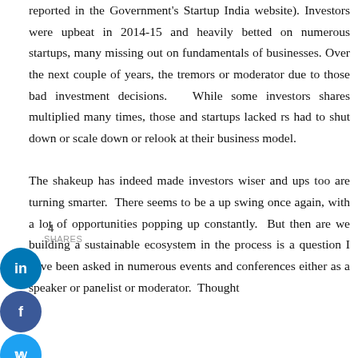reported in the Government's Startup India website). Investors were upbeat in 2014-15 and heavily betted on numerous startups, many missing out on fundamentals of businesses. Over the next couple of years, the tremors or moderator due to those bad investment decisions. While some investors shares multiplied many times, those and startups lacked rs had to shut down or scale down or relook at their business model. The shakeup has indeed made investors wiser and ups too are turning smarter. There seems to be a up swing once again, with a lot of opportunities popping up constantly. But then are we building a sustainable ecosystem in the process is a question I have been asked in numerous events and conferences either as a speaker or panelist or moderator. Thought
[Figure (other): Social sharing buttons: LinkedIn (in), Facebook (f), Twitter (bird icon), with share count of 4]